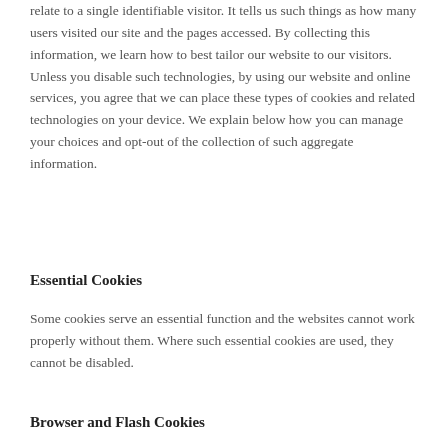relate to a single identifiable visitor. It tells us such things as how many users visited our site and the pages accessed. By collecting this information, we learn how to best tailor our website to our visitors. Unless you disable such technologies, by using our website and online services, you agree that we can place these types of cookies and related technologies on your device. We explain below how you can manage your choices and opt-out of the collection of such aggregate information.
Essential Cookies
Some cookies serve an essential function and the websites cannot work properly without them. Where such essential cookies are used, they cannot be disabled.
Browser and Flash Cookies